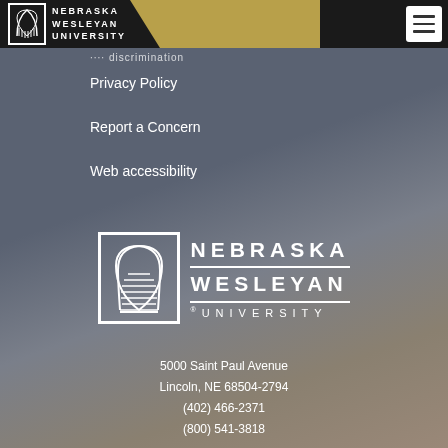[Figure (logo): Nebraska Wesleyan University logo in header bar with black background and gold accent]
Privacy Policy
Report a Concern
Web accessibility
[Figure (logo): Nebraska Wesleyan University large white logo with arch icon]
5000 Saint Paul Avenue
Lincoln, NE 68504-2794
(402) 466-2371
(800) 541-3818